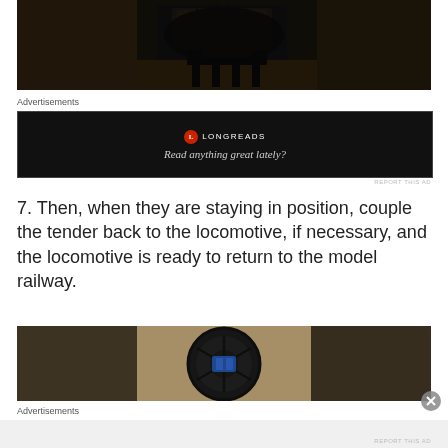[Figure (photo): Blurred dark photo of a model locomotive, partially cropped at top of page]
Advertisements
[Figure (screenshot): Advertisement banner with black background showing Longreads logo and text: Read anything great lately?]
REPORT THIS AD
7. Then, when they are staying in position, couple the tender back to the locomotive, if necessary, and the locomotive is ready to return to the model railway.
[Figure (photo): Close-up blurred dark photo of a model locomotive wheel/detail, partially cropped]
Advertisements
REPORT THIS AD